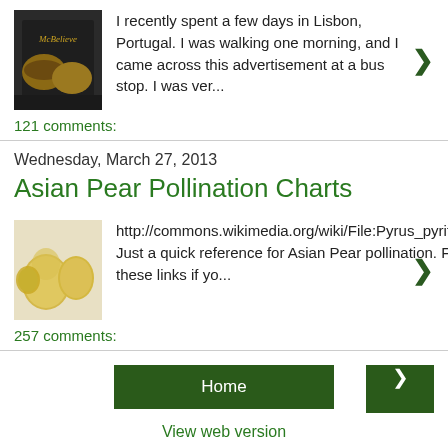[Figure (photo): Thumbnail image of a McDonald's bus stop advertisement with burger images on a dark background]
I recently spent a few days in Lisbon, Portugal. I was walking one morning, and I came across this advertisement at a bus stop. I was ver...
121 comments:
Wednesday, March 27, 2013
Asian Pear Pollination Charts
[Figure (photo): Thumbnail image of Asian pears (Pyrus pyrifolia) - round golden-yellow fruit]
http://commons.wikimedia.org/wiki/File:Pyrus_pyrifolia.jpg Just a quick reference for Asian Pear pollination. Follow these links if yo...
257 comments:
Home
View web version
Powered by Blogger.